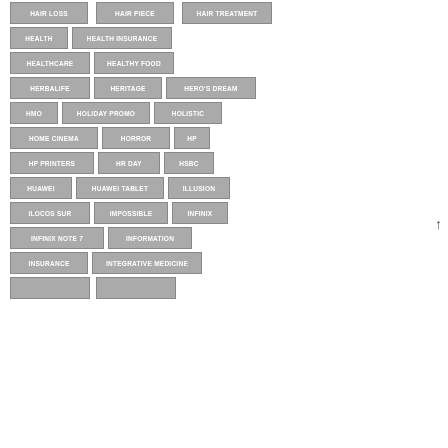[Figure (infographic): Tag cloud / keyword list displayed as gray rounded-rectangle buttons arranged in rows. Keywords include: HAIR LOSS, HAIR PIECE, HAIR TREATMENT, HEALTH, HEALTH INSURANCE, HEALTHCARE, HEALTHY FOOD, HERBALIFE, HERITAGE, HERO'S DREAM, HMO, HOLIDAY PROMO, HOLISTIC, HOME CINEMA, HORROR, HP, HP PRINTERS, HR DAY, HSBC, HUAWEI, HUAWEI TABLET, ILLUSION, ILOCOS SUR, IMPOSSIBLE, INFINIX, INFINIX NOTE 7, INFORMATION, INSURANCE, INTEGRATIVE MEDICINE, and partial items at bottom.]